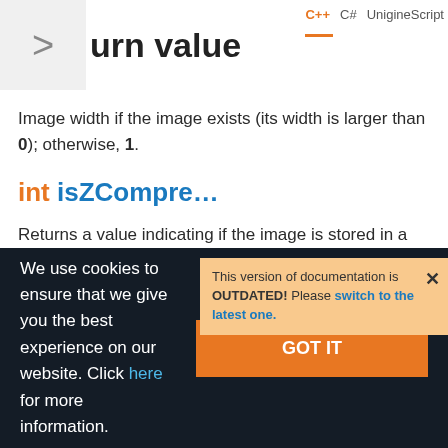urn value  C++  C#  UnigineScript
Image width if the image exists (its width is larger than 0); otherwise, 1.
int isZCompre...
This version of documentation is OUTDATED! Please switch to the latest one. ×
Returns a value indicating if the image is stored in a ZLC1 or ZLC2 format (by ZLIB Image Compression).
We use cookies to ensure that we give you the best experience on our website. Click here for more information.